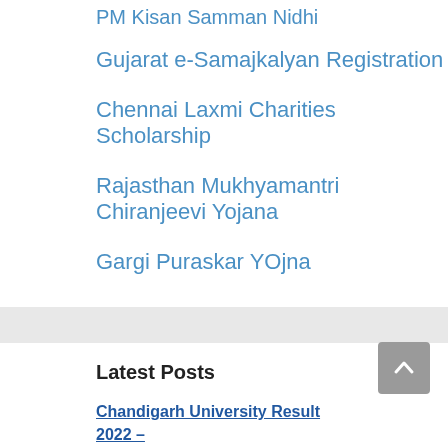PM Kisan Samman Nidhi
Gujarat e-Samajkalyan Registration
Chennai Laxmi Charities Scholarship
Rajasthan Mukhyamantri Chiranjeevi Yojana
Gargi Puraskar YOjna
Latest Posts
Chandigarh University Result 2022 – www.cuchd.in CU UG/PG Score Card PDF
Video Viral Sofie Ansari Samekin Memanas Dan